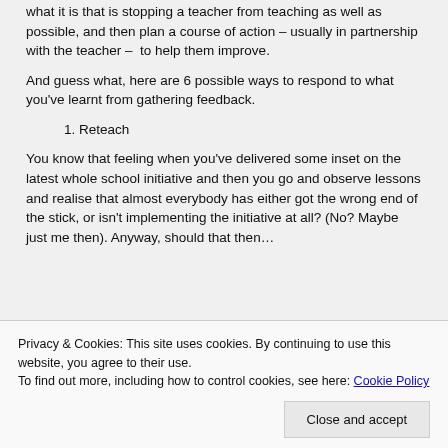what it is that is stopping a teacher from teaching as well as possible, and then plan a course of action – usually in partnership with the teacher –  to help them improve.
And guess what, here are 6 possible ways to respond to what you've learnt from gathering feedback.
1. Reteach
You know that feeling when you've delivered some inset on the latest whole school initiative and then you go and observe lessons and realise that almost everybody has either got the wrong end of the stick, or isn't implementing the initiative at all? (No? Maybe just me then). Anyway, should that then…
Privacy & Cookies: This site uses cookies. By continuing to use this website, you agree to their use.
To find out more, including how to control cookies, see here: Cookie Policy
Close and accept
it is important.